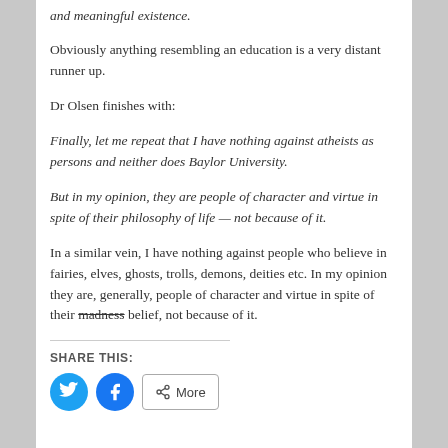and meaningful existence.
Obviously anything resembling an education is a very distant runner up.
Dr Olsen finishes with:
Finally, let me repeat that I have nothing against atheists as persons and neither does Baylor University.
But in my opinion, they are people of character and virtue in spite of their philosophy of life — not because of it.
In a similar vein, I have nothing against people who believe in fairies, elves, ghosts, trolls, demons, deities etc. In my opinion they are, generally, people of character and virtue in spite of their madness belief, not because of it.
SHARE THIS: